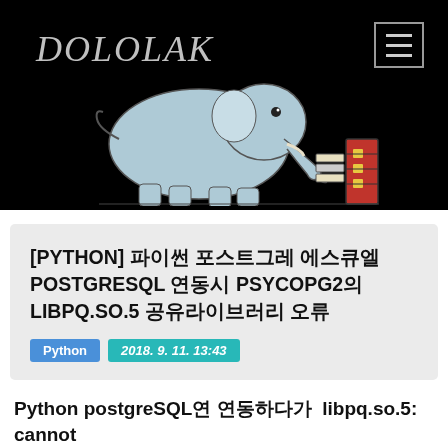DOLOLAK
[Figure (illustration): PostgreSQL elephant logo illustration in light blue/grey color, using its trunk to interact with a red database cabinet with yellow drawers, on black background]
[PYTHON] 파이썬 포스트그레 에스큐엘 POSTGRESQL 연동시 PSYCOPG2의 LIBPQ.SO.5 공유라이브러리 오류
Python 2018. 9. 11. 13:43
Python postgreSQL연 연동하다가  libpq.so.5: cannot open shared object file: No such file